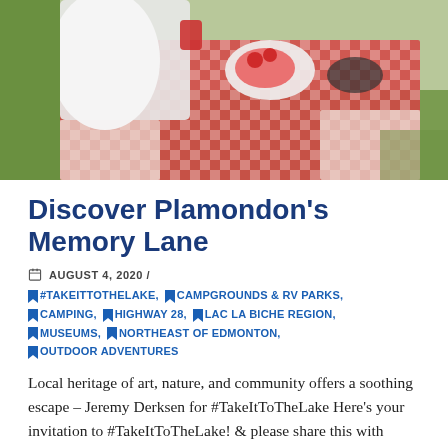[Figure (photo): Outdoor picnic scene with a red and white checkered tablecloth, food including watermelon and cherries, person in white shirt visible]
Discover Plamondon's Memory Lane
AUGUST 4, 2020 /
#TAKEITTOTHELAKE, CAMPGROUNDS & RV PARKS, CAMPING, HIGHWAY 28, LAC LA BICHE REGION, MUSEUMS, NORTHEAST OF EDMONTON, OUTDOOR ADVENTURES
Local heritage of art, nature, and community offers a soothing escape – Jeremy Derksen for #TakeItToTheLake Here's your invitation to #TakeItToTheLake! & please share this with friends and family so they too can come visit this summer and/or for you to get out and renew yourself by